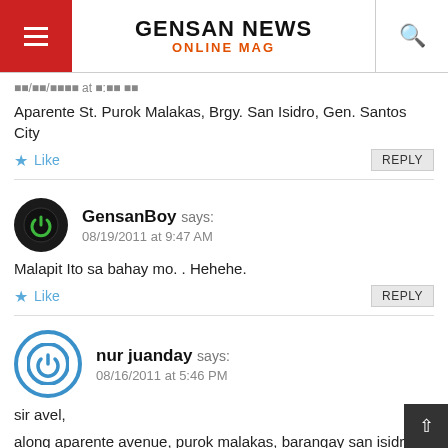GENSAN NEWS ONLINE MAG
Aparente St. Purok Malakas, Brgy. San Isidro, Gen. Santos City
Like  REPLY
GensanBoy says:
08/19/2011 at 9:47 AM
Malapit Ito sa bahay mo. . Hehehe.
Like  REPLY
nur juanday says:
08/16/2011 at 5:46 PM
sir avel,
along aparente avenue, purok malakas, barangay san isidro (malapit-lapit na po sa Purok Malakas Satellite Market)